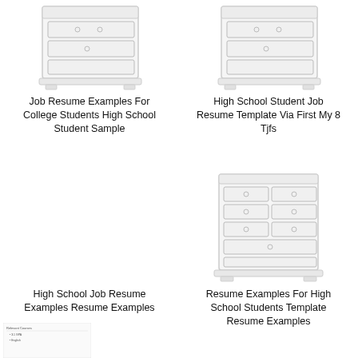[Figure (illustration): Line drawing of a dresser/chest of drawers - top left]
Job Resume Examples For College Students High School Student Sample
[Figure (illustration): Line drawing of a dresser/chest of drawers - top right]
High School Student Job Resume Template Via First My 8 Tjfs
[Figure (illustration): Empty area - bottom left (no image visible)]
High School Job Resume Examples Resume Examples
[Figure (illustration): Line drawing of a larger dresser/chest of drawers with multiple drawers - bottom right]
Resume Examples For High School Students Template Resume Examples
[Figure (screenshot): Small document thumbnail at the very bottom left with text lines]